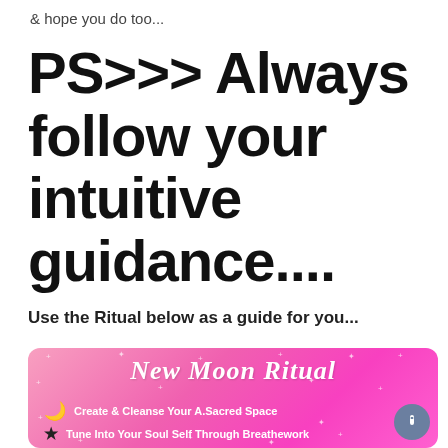& hope you do too...
PS>>> Always follow your intuitive guidance....
Use the Ritual below as a guide for you...
[Figure (infographic): Pink gradient banner with cursive text 'New Moon Ritual', moon icon with text 'Create & Cleanse Your A.Sacred Space', star icon with text 'Tune Into Your Soul Self Through Breathework', decorative sparkles, and a grey circular scroll button on the right]